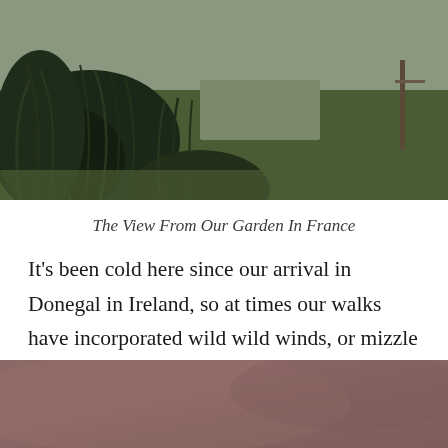[Figure (photo): Outdoor garden photo showing wild grasses and vegetation with a path or road in the background, taken in France]
The View From Our Garden In France
It's been cold here since our arrival in Donegal in Ireland, so at times our walks have incorporated wild wild winds, or mizzle (a mixture of mist and drizzle, the name coming from Cornwall) or just bracing cold in bright sunshine, and sometimes in the setting sun.
[Figure (photo): Outdoor photo with muted pinkish-brown tones, appears to be a landscape or sky scene at dusk or in overcast conditions]